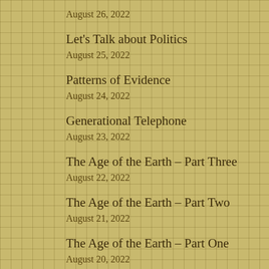August 26, 2022
Let's Talk about Politics
August 25, 2022
Patterns of Evidence
August 24, 2022
Generational Telephone
August 23, 2022
The Age of the Earth – Part Three
August 22, 2022
The Age of the Earth – Part Two
August 21, 2022
The Age of the Earth – Part One
August 20, 2022
The Great Designer
August 19, 2022
Science Proving God